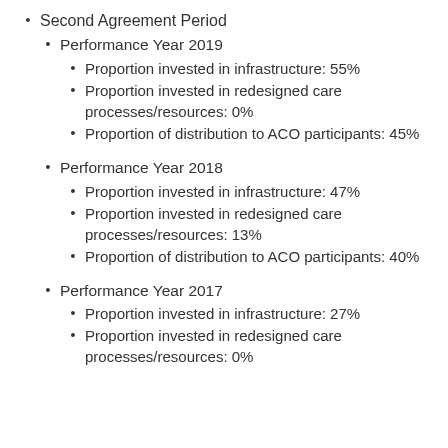Second Agreement Period
Performance Year 2019
Proportion invested in infrastructure: 55%
Proportion invested in redesigned care processes/resources: 0%
Proportion of distribution to ACO participants: 45%
Performance Year 2018
Proportion invested in infrastructure: 47%
Proportion invested in redesigned care processes/resources: 13%
Proportion of distribution to ACO participants: 40%
Performance Year 2017
Proportion invested in infrastructure: 27%
Proportion invested in redesigned care processes/resources: 0%